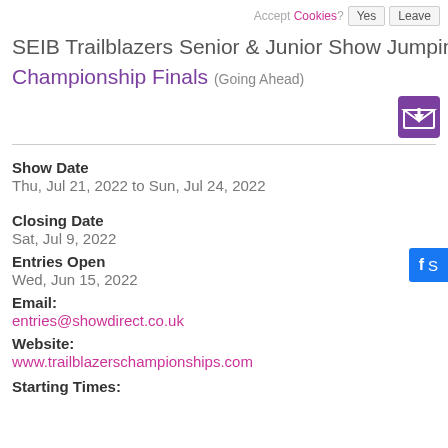Accept Cookies? Yes Leave
SEIB Trailblazers Senior & Junior Show Jumping & Combined Championship Finals (Going Ahead)
Show Date
Thu, Jul 21, 2022 to Sun, Jul 24, 2022
Closing Date
Sat, Jul 9, 2022
Entries Open
Wed, Jun 15, 2022
Email:
entries@showdirect.co.uk
Website:
www.trailblazerschampionships.com
Starting Times: